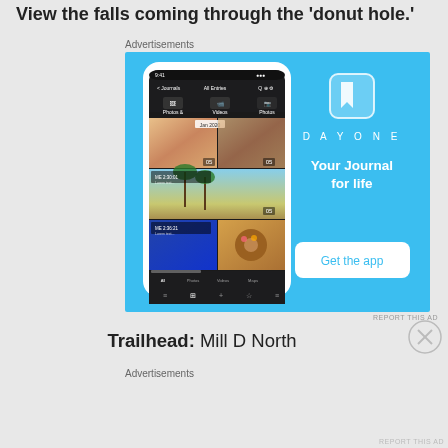View the falls coming through the 'donut hole.'
Advertisements
[Figure (screenshot): DayOne app advertisement with blue background showing a phone screenshot of the DayOne journal app on the left, and on the right the DayOne logo, tagline 'Your Journal for life', and a 'Get the app' button.]
REPORT THIS AD
Trailhead: Mill D North
Advertisements
REPORT THIS AD